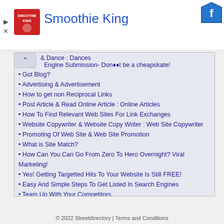[Figure (logo): Smoothie King advertisement banner with logo and title 'Smoothie King' in blue, with Facebook icon top right and play/close controls top left]
& Dance : Dances
Engine Submission- Donâ€œt be a cheapskate!
Got Blog?
Advertising & Advertisement
How to get non Reciprocal Links
Post Article & Read Online Article : Online Articles
How To Find Relevant Web Sites For Link Exchanges
Website Copywriter & Website Copy Writer : Web Site Copywriter
Promoting Of Web Site & Web Site Promotion
What is Site Match?
How Can You Can Go From Zero To Hero Overnight? Viral Marketing!
Yes! Getting Targetted Hits To Your Website Is Still FREE!
Easy And Simple Steps To Get Listed In Search Engines
Team Up With Your Competitors
Is Adsense Going To Turn Associate Programs Obsolete
1 Seldom Discussed Method Of Web Promotion
» More on Site Promotion
© 2022 Streetdirectory | Terms and Conditions